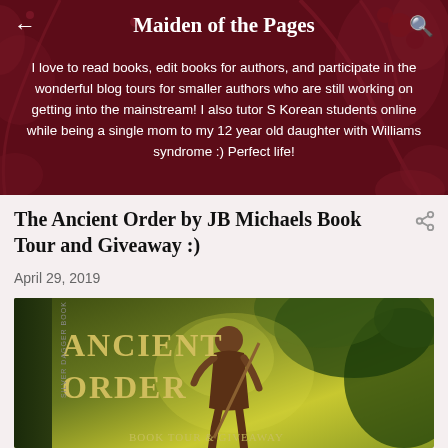Maiden of the Pages
I love to read books, edit books for authors, and participate in the wonderful blog tours for smaller authors who are still working on getting into the mainstream! I also tutor S Korean students online while being a single mom to my 12 year old daughter with Williams syndrome :) Perfect life!
The Ancient Order by JB Michaels Book Tour and Giveaway :)
April 29, 2019
[Figure (photo): Book cover and promotional banner for 'Ancient Order' Book Tour & Giveaway, showing a muscular warrior figure in a jungle setting with green foliage]